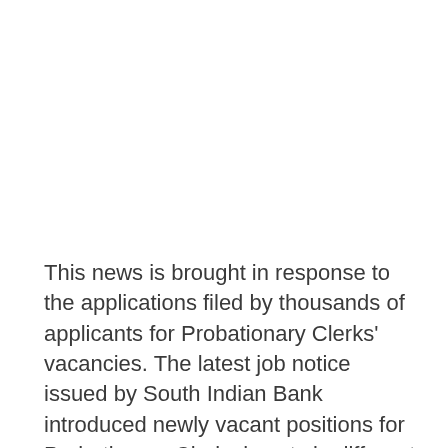This news is brought in response to the applications filed by thousands of applicants for Probationary Clerks' vacancies. The latest job notice issued by South Indian Bank introduced newly vacant positions for Probationary Clerical posts in different states. There are thousands of hopefuls who applied to seek a job opportunity for a limited number of posts which is, 537. The next news every candidate look forward to is about